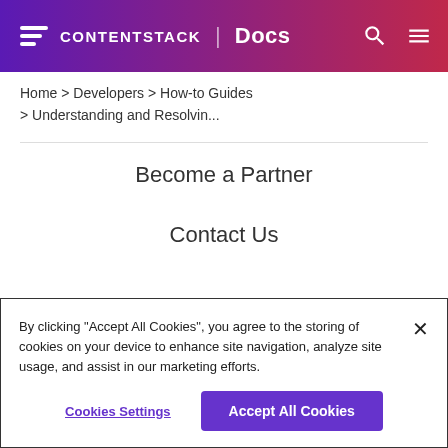CONTENTSTACK | Docs
Home > Developers > How-to Guides > Understanding and Resolvin...
Become a Partner
Contact Us
By clicking "Accept All Cookies", you agree to the storing of cookies on your device to enhance site navigation, analyze site usage, and assist in our marketing efforts.
Cookies Settings
Accept All Cookies